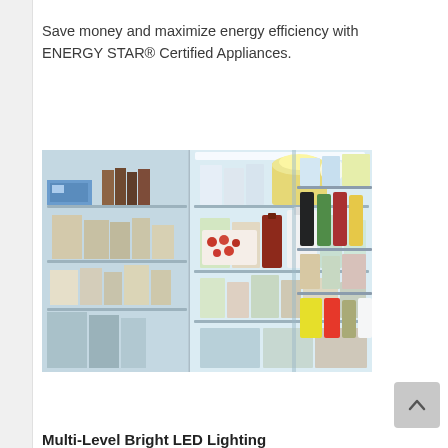Save money and maximize energy efficiency with ENERGY STAR® Certified Appliances.
[Figure (photo): Open refrigerator showing interior shelves with food items including condiments, drinks, snacks, and groceries arranged on multiple shelves and door bins. Shows both the main compartment and freezer side.]
Multi-Level Bright LED Lighting